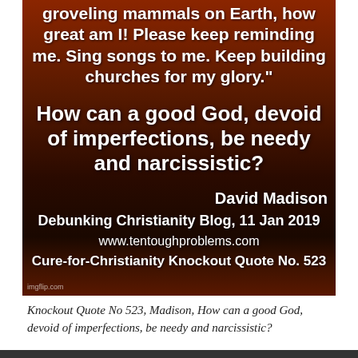[Figure (photo): Dark reddish-orange sunset background with silhouetted plants, overlaid with white bold text containing a religious quote, attribution, and blog reference.]
Knockout Quote No 523, Madison, How can a good God, devoid of imperfections, be needy and narcissistic?